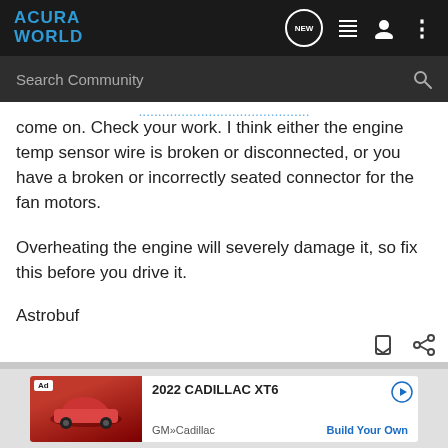ACURA WORLD
come on. Check your work. I think either the engine temp sensor wire is broken or disconnected, or you have a broken or incorrectly seated connector for the fan motors.
Overheating the engine will severely damage it, so fix this before you drive it.
Astrobuf
[Figure (screenshot): Ad banner showing 2022 CADILLAC XT6 by GM Cadillac with Build Your Own CTA]
Ad - 2022 CADILLAC XT6 - GM»Cadillac - Build Your Own